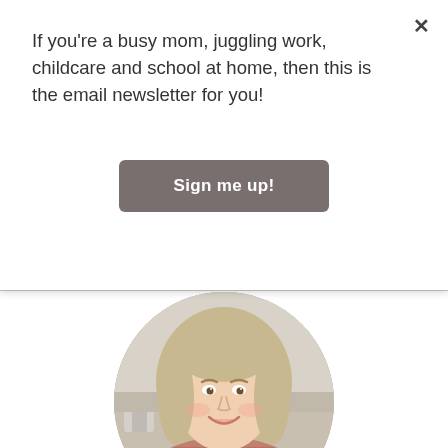If you're a busy mom, juggling work, childcare and school at home, then this is the email newsletter for you!
Sign me up!
[Figure (photo): Circular profile photo of a smiling woman with shoulder-length blonde hair wearing a pink/mauve dotted top, photographed in a kitchen setting.]
Katie Olthoff is a working mom of three who lives on a farm in Iowa. She is a former teacher and current communications professional who enjoys studying ways that moms can simplify and improve their lives. Katie is also the author of several children's